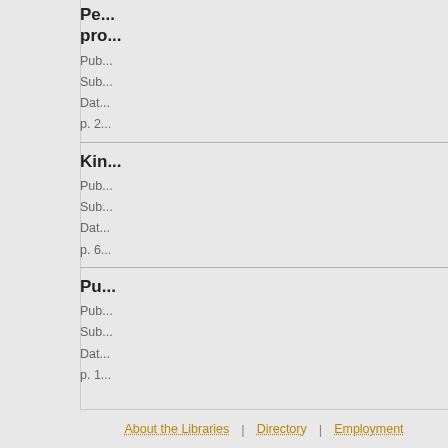Pe... pro...
Pub...
Sub...
Dat...
p. 2...
Kin...
Pub...
Sub...
Dat...
p. 6...
Pu...
Pub...
Sub...
Dat...
p. 1...
About the Libraries | Directory | Employment